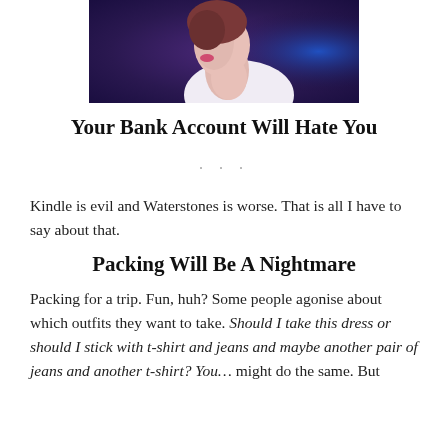[Figure (photo): A person photographed in profile view, wearing a white top, with dark hair, against a dark purple/blue background.]
Your Bank Account Will Hate You
· · ·
Kindle is evil and Waterstones is worse. That is all I have to say about that.
Packing Will Be A Nightmare
Packing for a trip. Fun, huh? Some people agonise about which outfits they want to take. Should I take this dress or should I stick with t-shirt and jeans and maybe another pair of jeans and another t-shirt? You… might do the same. But